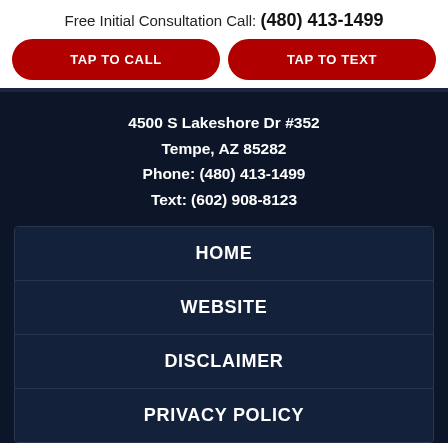Free Initial Consultation Call: (480) 413-1499
TAP TO CALL
TAP TO TEXT
4500 S Lakeshore Dr #352
Tempe, AZ 85282
Phone: (480) 413-1499
Text: (602) 908-8123
HOME
WEBSITE
DISCLAIMER
PRIVACY POLICY